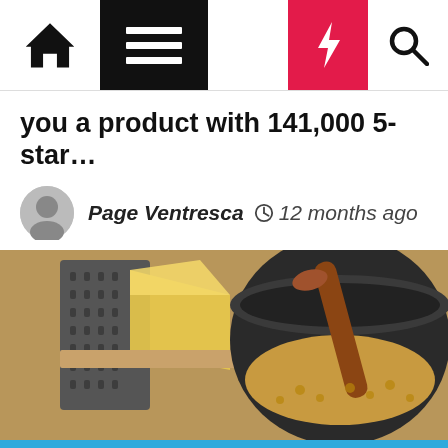Navigation bar with home, menu, moon, lightning, and search icons
you a product with 141,000 5-star…
Page Ventresca  12 months ago
[Figure (photo): Photo of a cheese grater with a block of cheese and a pot of macaroni with a wooden spoon]
We use cookies on our website to give you the most relevant experience by remembering your preferences and repeat visits. By clicking "Accept", you consent to the use of ALL the cookies.
Cookie settings  ACCEPT